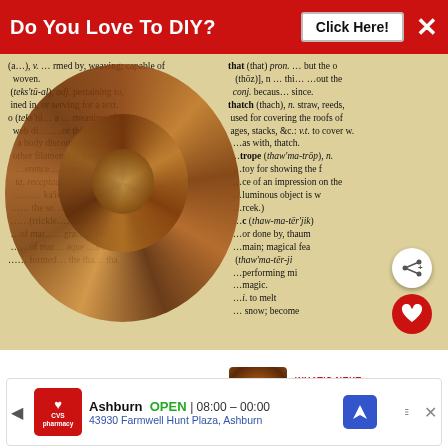Do You Love To DIY?  Click Here!  ✕
[Figure (photo): A DIY craft item — a circular wooden or resin piece with layered brown and golden ring patterns, placed over an open dictionary page showing definitions including 'thatch', 'thaumatrope', and related words. A hand with dark nail polish holds the piece. Heart and share buttons are overlaid on the photo.]
WHAT'S NEXT → Puzzle Piece Place Cards
[Figure (photo): Thumbnail image for 'Puzzle Piece Place Cards' article showing a similar wooden/resin piece over dictionary text.]
Ashburn  OPEN  08:00 – 00:00  43930 Farmwell Hunt Plaza, Ashburn